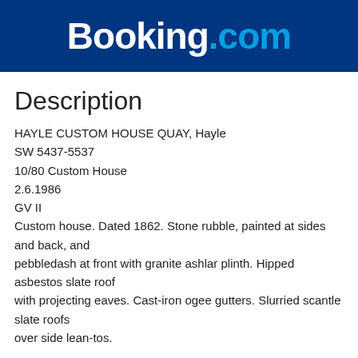[Figure (logo): Booking.com logo: white bold 'Booking' text and light blue bold '.com' text on a dark navy blue background]
Description
HAYLE CUSTOM HOUSE QUAY, Hayle
SW 5437-5537
10/80 Custom House
2.6.1986
GV II
Custom house. Dated 1862. Stone rubble, painted at sides and back, and
pebbledash at front with granite ashlar plinth. Hipped asbestos slate roof
with projecting eaves. Cast-iron ogee gutters. Slurried scantle slate roofs
over side lean-tos.